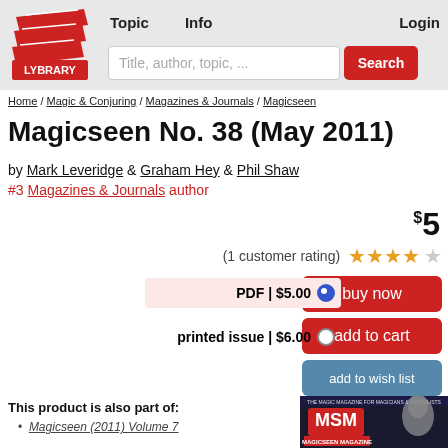Topic  Info  Login
[Figure (logo): Lybrary logo - red book stack with LYBRARY text]
Title, author, topic, ...
Search
Home / Magic & Conjuring / Magazines & Journals / Magicseen
Magicseen No. 38 (May 2011)
by Mark Leveridge & Graham Hey & Phil Shaw
#3 Magazines & Journals author
$5
(1 customer rating) ★★★★☆
buy now
PDF | $5.00 (selected)
printed issue | $6.00
add to cart
add to wish list
This product is also part of:
Magicseen (2011) Volume 7
[Figure (photo): Magicseen magazine cover showing a magician]